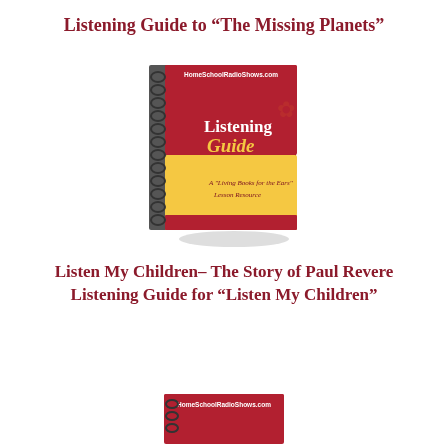Listening Guide to “The Missing Planets”
[Figure (illustration): A spiral-bound listening guide book with red and yellow cover, titled 'Listening Guide', with 'HomeSchoolRadioShows.com' on top and 'A Living Books for the Ears Lesson Resource' subtitle. The book shows a slight 3D perspective.]
Listen My Children- The Story of Paul Revere
Listening Guide for “Listen My Children”
[Figure (illustration): Partial view of another spiral-bound Listening Guide book cover, cropped at bottom of page, showing HomeSchoolRadioShows.com header.]